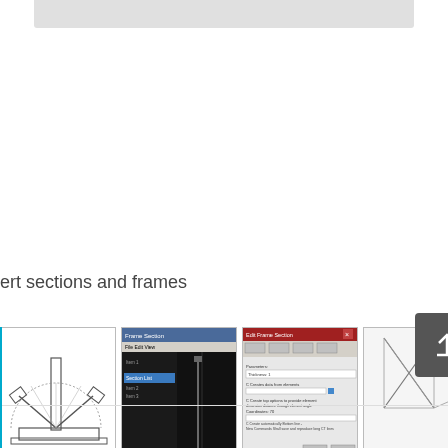ert sections and frames
[Figure (engineering-diagram): CAD drawing showing a structural section with two angled members meeting at a point, and a protractor-like arc above, with a rectangular base plate below]
[Figure (screenshot): Software dialog/settings window with dark background and blue highlighted item in a list]
[Figure (screenshot): Software dialog window with text fields and options for section/frame properties]
[Figure (engineering-diagram): Partially visible engineering diagram with triangular/frame shapes, overlaid with a dark grey scroll-to-top button with upward arrow]